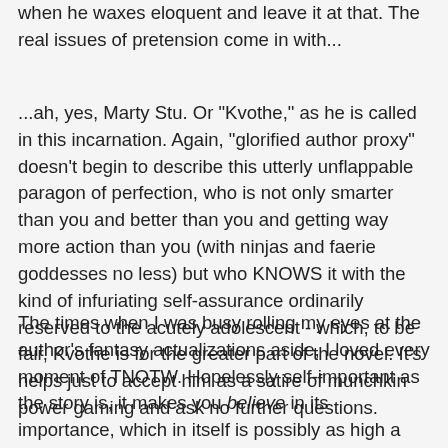when he waxes eloquent and leave it at that. The real issues of pretension come in with...
...ah, yes, Marty Stu. Or "Kvothe," as he is called in this incarnation. Again, "glorified author proxy" doesn't begin to describe this utterly unflappable paragon of perfection, who is not only smarter than you and better than you and getting way more action than you (with ninjas and faerie goddesses no less) but who KNOWS it with the kind of infuriating self-assurance ordinarily reserved to the acutely adolescent - which, to be fair, Kvothe is for the greater part of the novel. It's helps just to accept him as a satire of munchkin power gaming and ask no further questions.
The times when I was busy rolling my eyes at the author's fantasy actualizations aside, I loved every moment of TNOTW. Hopelessly self-important as the story is, it makes you believe in its importance, which in itself is possibly as high a praise as can be levied on a novel of this genre. Kvothe is an impossible figure, a fiery Achilles with Ulysses'